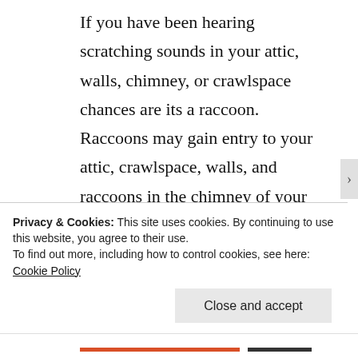If you have been hearing scratching sounds in your attic, walls, chimney, or crawlspace chances are its a raccoon. Raccoons may gain entry to your attic, crawlspace, walls, and raccoons in the chimney of your home or business. Once these nuisance animals gain entry to your home or business they can
Privacy & Cookies: This site uses cookies. By continuing to use this website, you agree to their use.
To find out more, including how to control cookies, see here: Cookie Policy
Close and accept